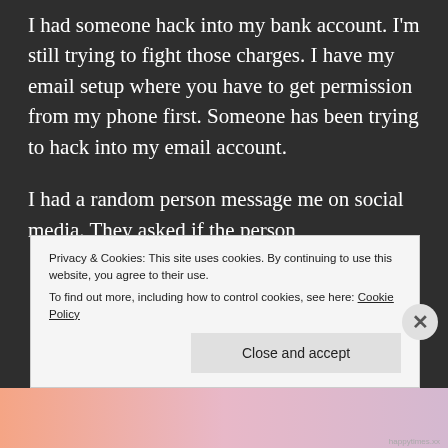I had someone hack into my bank account. I'm still trying to fight those charges. I have my email setup where you have to get permission from my phone first. Someone has been trying to hack into my email account.
I had a random person message me on social media. They asked if the person
Privacy & Cookies: This site uses cookies. By continuing to use this website, you agree to their use.
To find out more, including how to control cookies, see here: Cookie Policy
Close and accept